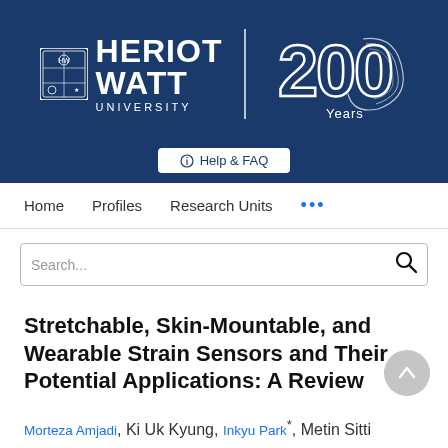[Figure (logo): Heriot-Watt University 200 Years logo banner on dark blue background]
Help & FAQ
Home   Profiles   Research Units   ...
Search...
Stretchable, Skin-Mountable, and Wearable Strain Sensors and Their Potential Applications: A Review
Morteza Amjadi, Ki Uk Kyung, Inkyu Park*, Metin Sitti